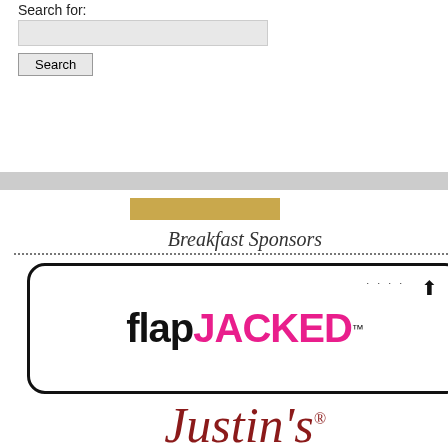Search for:
[Figure (screenshot): Search input box with Search button below]
[Figure (illustration): Yellow highlighted rectangle on gray separator bar]
[Figure (logo): Breakfast Sponsors section header with dotted underline, followed by FlapJacked logo in rounded rectangle border, Justin's script logo in dark red, Love Grown Foods logo on gray background, GoodBelly logo in bold black text with registered mark, and partial blue circle at bottom]
that will be filling the swag b
When Michelle and Lori of T sponsors, we were ecstatic!
[Figure (photo): Partial photo showing teal/turquoise background with dark calligraphic letter, black top portion]
[Figure (infographic): Follow sidebar with vertical follow text, arrow, Facebook blue icon, RSS orange icon, Twitter blue icon]